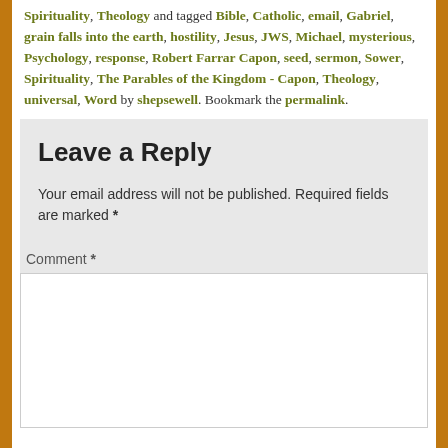Spirituality, Theology and tagged Bible, Catholic, email, Gabriel, grain falls into the earth, hostility, Jesus, JWS, Michael, mysterious, Psychology, response, Robert Farrar Capon, seed, sermon, Sower, Spirituality, The Parables of the Kingdom - Capon, Theology, universal, Word by shepsewell. Bookmark the permalink.
Leave a Reply
Your email address will not be published. Required fields are marked *